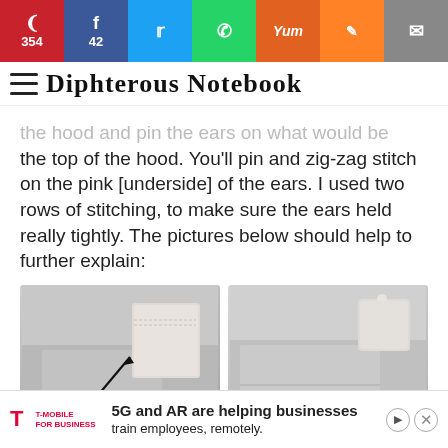Pinterest 354 | Facebook 42 | Twitter | WhatsApp | Yummly | Mix | Email
Diphterous Notebook
the hood and pin the ears on what would be the top of the hood. You'll pin and zig-zag stitch on the pink [underside] of the ears. I used two rows of stitching, to make sure the ears held really tightly. The pictures below should help to further explain:
[Figure (photo): Left photo showing grey fabric hood with an ear pinned to the top. Arrow pointing to the seam edge with label 'Pin and sew this edge']
[Figure (photo): Right photo showing grey fabric hood with an ear sewn on, viewed from the outside]
T-MOBILE FOR BUSINESS — 5G and AR are helping businesses train employees, remotely.